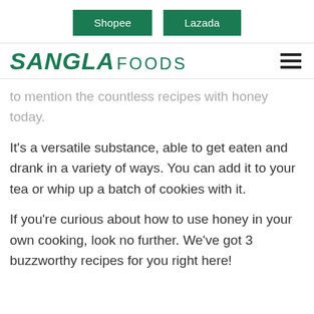Shopee  Lazada
[Figure (logo): Sangla Foods logo with italic bold green SANGLA text and regular green FOODS text, plus hamburger menu icon]
to mention the countless recipes with honey today.
It's a versatile substance, able to get eaten and drank in a variety of ways. You can add it to your tea or whip up a batch of cookies with it.
If you're curious about how to use honey in your own cooking, look no further. We've got 3 buzzworthy recipes for you right here!